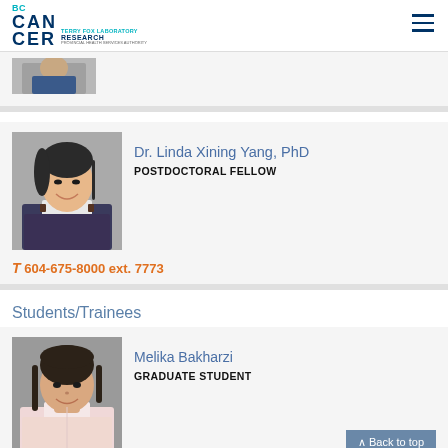BC CANCER | TERRY FOX LABORATORY RESEARCH
[Figure (photo): Partial cropped photo of a person (previous card, cut off at top of viewport)]
[Figure (photo): Photo of Dr. Linda Xining Yang, PhD - woman with dark hair, smiling, professional attire]
Dr. Linda Xining Yang, PhD
POSTDOCTORAL FELLOW
T 604-675-8000 ext. 7773
Students/Trainees
[Figure (photo): Photo of Melika Bakharzi - woman with dark hair, smiling, wearing light pink shirt]
Melika Bakharzi
GRADUATE STUDENT